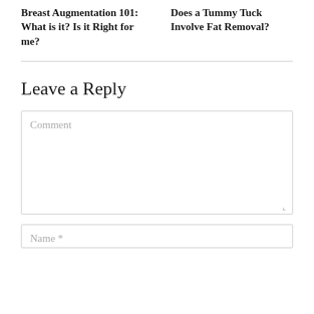Breast Augmentation 101: What is it? Is it Right for me?
Does a Tummy Tuck Involve Fat Removal?
Leave a Reply
Comment
Name *